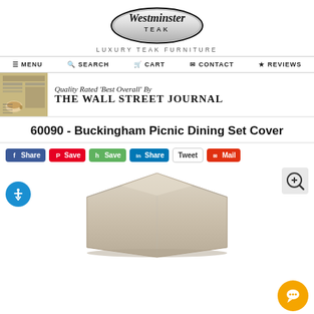[Figure (logo): Westminster Teak logo — oval badge with brand name, tagline 'LUXURY TEAK FURNITURE']
☰ MENU  🔍 SEARCH  🛒 CART  ✉ CONTACT  ★ REVIEWS
[Figure (infographic): Banner: newspaper image on left, text 'Quality Rated Best Overall By THE WALL STREET JOURNAL']
60090 - Buckingham Picnic Dining Set Cover
Share Save Save Share Tweet Mail (social sharing buttons)
[Figure (photo): Product photo of a beige/taupe outdoor furniture cover for a picnic dining set, shown partially from above]